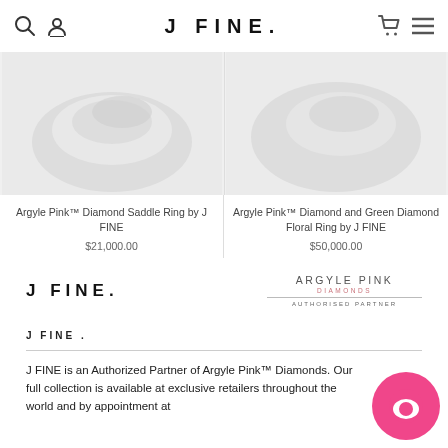J FINE.
[Figure (photo): Product image of Argyle Pink Diamond Saddle Ring with grey background]
Argyle Pink™ Diamond Saddle Ring by J FINE
$21,000.00
[Figure (photo): Product image of Argyle Pink Diamond and Green Diamond Floral Ring with grey background]
Argyle Pink™ Diamond and Green Diamond Floral Ring by J FINE
$50,000.00
[Figure (logo): J FINE. logo text in bold black letters with wide spacing]
[Figure (logo): Argyle Pink Diamonds Authorised Partner logo]
J FINE .
J FINE is an Authorized Partner of Argyle Pink™ Diamonds. Our full collection is available at exclusive retailers throughout the world and by appointment at